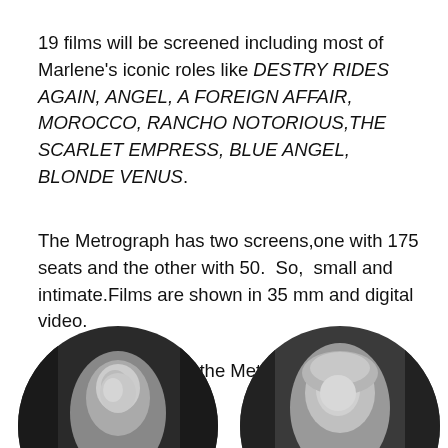19 films will be screened including most of Marlene's iconic roles like DESTRY RIDES AGAIN, ANGEL, A FOREIGN AFFAIR, MOROCCO, RANCHO NOTORIOUS,THE SCARLET EMPRESS, BLUE ANGEL, BLONDE VENUS.
The Metrograph has two screens,one with 175 seats and the other with 50.  So,  small and intimate.Films are shown in 35 mm and digital video.
Has anyone visited the Metrograph?    Theresa?
[Figure (photo): Two circular black-and-white portrait photographs side by side, showing women's faces, partially cropped by the bottom edge of the page.]